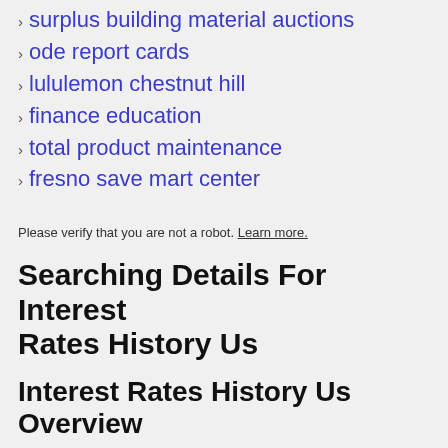surplus building material auctions
ode report cards
lululemon chestnut hill
finance education
total product maintenance
fresno save mart center
Please verify that you are not a robot. Learn more.
Searching Details For Interest Rates History Us
Interest Rates History Us Overview
If you are looking an offer for Interest Rates History